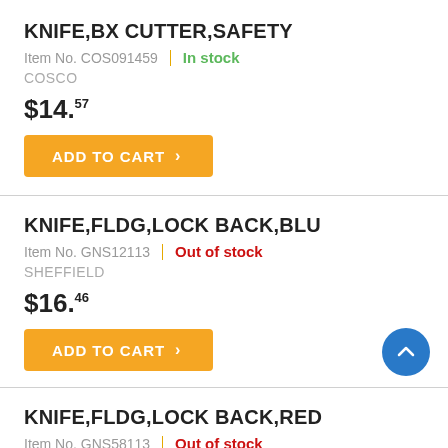KNIFE,BX CUTTER,SAFETY
Item No. COS091459 | In stock
COSCO
$14.57
ADD TO CART
KNIFE,FLDG,LOCK BACK,BLU
Item No. GNS12113 | Out of stock
SHEFFIELD
$16.46
ADD TO CART
KNIFE,FLDG,LOCK BACK,RED
Item No. GNS58113 | Out of stock
SHEFFIELD